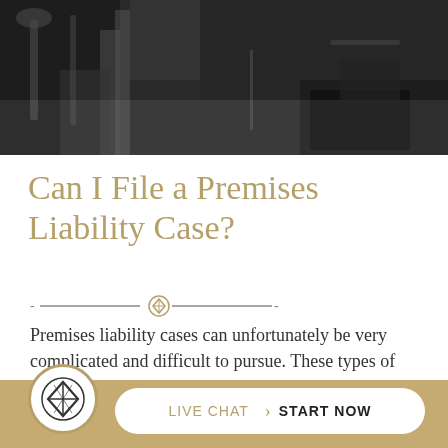[Figure (photo): Black and white photograph showing what appears to be a person on stairs or a railing, dark moody image]
Can I File a Premises Liability Case?
[Figure (illustration): Decorative horizontal divider with dashes and a diamond/compass logo icon in the center]
Premises liability cases can unfortunately be very complicated and difficult to pursue. These types of cases involve reckless or irresponsible property owners whose actions lead to an accident because he or she failed to maintain a safe property or warn others of a potential
[Figure (logo): Law firm logo in white circle — geometric diamond/compass mark — on gold bottom bar with LIVE CHAT > START NOW button]